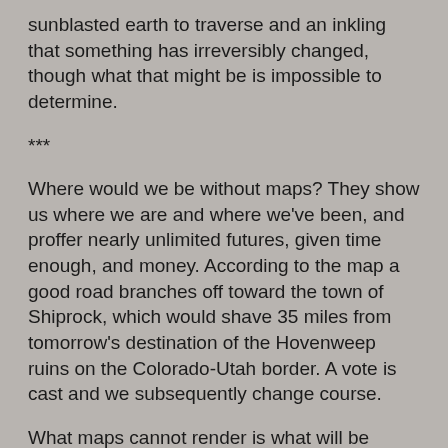sunblasted earth to traverse and an inkling that something has irreversibly changed, though what that might be is impossible to determine.
***
Where would we be without maps? They show us where we are and where we've been, and proffer nearly unlimited futures, given time enough, and money. According to the map a good road branches off toward the town of Shiprock, which would shave 35 miles from tomorrow's destination of the Hovenweep ruins on the Colorado-Utah border. A vote is cast and we subsequently change course.
What maps cannot render is what will be found, or not found, making them a sort of cartographic augury no more accurate than divining tea leaves or foretokening steaming piles of entrails.
We enter Shiprock from the south. The town seems in a general state of disrepair, a sort of modern Anasazi ruin whose inhabitants have fled without a trace. There's a half-